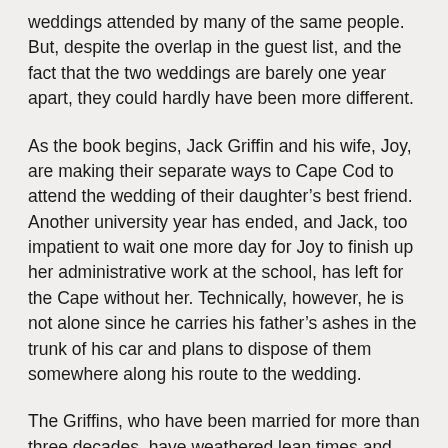weddings attended by many of the same people.  But, despite the overlap in the guest list, and the fact that the two weddings are barely one year apart, they could hardly have been more different.
As the book begins, Jack Griffin and his wife, Joy, are making their separate ways to Cape Cod to attend the wedding of their daughter’s best friend.  Another university year has ended, and Jack, too impatient to wait one more day for Joy to finish up her administrative work at the school, has left for the Cape without her.  Technically, however, he is not alone since he carries his father’s ashes in the trunk of his car and plans to dispose of them somewhere along his route to the wedding.
The Griffins, who have been married for more than three decades, have weathered lean times and tensions with the in-laws to carve out a rather comfortable existence for themselves.  They have, in fact, attained the lifestyle that Jack’s own parents always yearned for, but never achieved for themselves – all of it centered on their work at a respected liberal arts college in Connecticut.  For Jack,